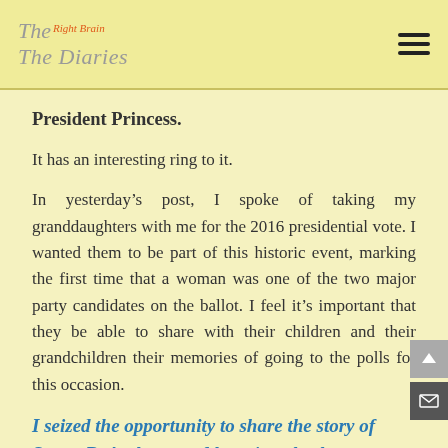The Right Brain Diaries
President Princess.
It has an interesting ring to it.
In yesterday’s post, I spoke of taking my granddaughters with me for the 2016 presidential vote. I wanted them to be part of this historic event, marking the first time that a woman was one of the two major party candidates on the ballot. I feel it’s important that they be able to share with their children and their grandchildren their memories of going to the polls for this occasion.
I seized the opportunity to share the story of Susan B. Anthony and her pivotal role